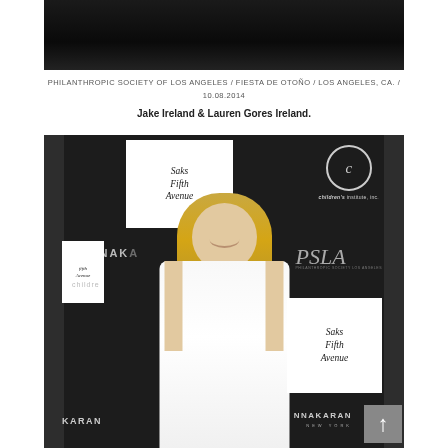[Figure (photo): Top portion of an event photo, dark background, showing upper part of figures at a formal event]
PHILANTHROPIC SOCIETY OF LOS ANGELES / FIESTA DE OTOÑO / LOS ANGELES, CA. / 10.08.2014
Jake Ireland & Lauren Gores Ireland.
[Figure (photo): Woman in white dress standing at a red carpet event backdrop featuring Saks Fifth Avenue, Children's Institute Inc., Donna Karan New York, and PSLA logos]